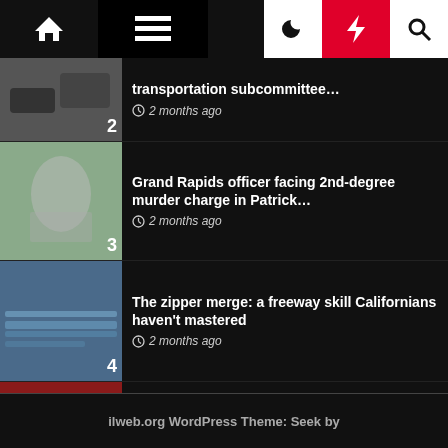Navigation bar with home, menu, moon, bolt, search icons
transportation subcommittee… 2 months ago
Grand Rapids officer facing 2nd-degree murder charge in Patrick… 2 months ago
The zipper merge: a freeway skill Californians haven't mastered 2 months ago
Police Report: June 9, 2022 | Police 2 months ago
ilweb.org WordPress Theme: Seek by